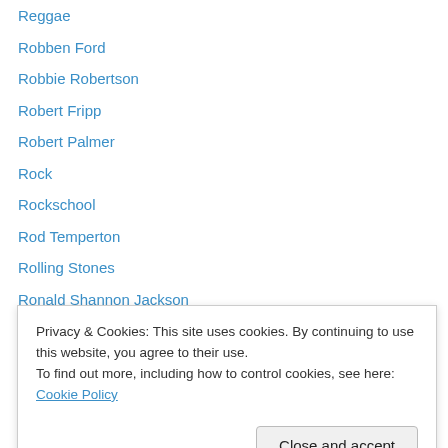Reggae
Robben Ford
Robbie Robertson
Robert Fripp
Robert Palmer
Rock
Rockschool
Rod Temperton
Rolling Stones
Ronald Shannon Jackson
Round Midnight
Roxy Music
Roy Ayers
Run DMC
Privacy & Cookies: This site uses cookies. By continuing to use this website, you agree to their use.
To find out more, including how to control cookies, see here: Cookie Policy
Scritti Politti